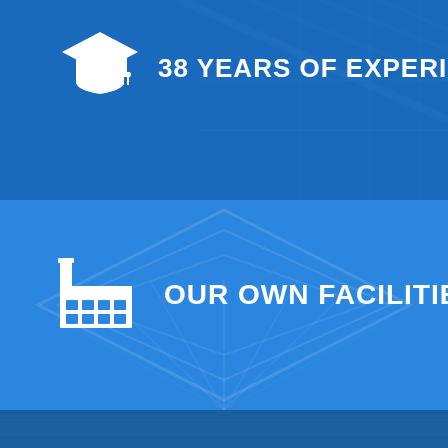[Figure (infographic): Top blue banner with graduation cap icon and text '38 YEARS OF EXPERIENCE' on a dark blue background with building/structural lines visible.]
38 YEARS OF EXPERIENCE
[Figure (infographic): Middle blue banner with factory/industrial building icon and text 'OUR OWN FACILITIES' on a medium blue background with geometric diamond pattern visible.]
OUR OWN FACILITIES